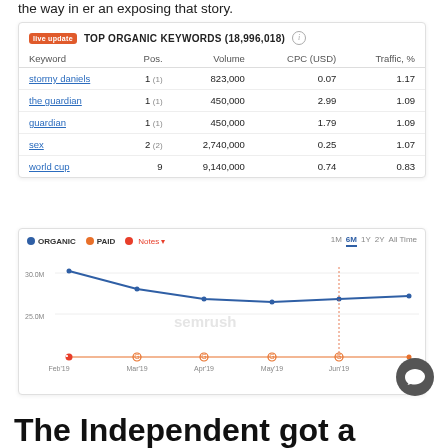the way in er an exposing that story.
| Keyword | Pos. | Volume | CPC (USD) | Traffic, % |
| --- | --- | --- | --- | --- |
| stormy daniels | 1 (1) | 823,000 | 0.07 | 1.17 |
| the guardian | 1 (1) | 450,000 | 2.99 | 1.09 |
| guardian | 1 (1) | 450,000 | 1.79 | 1.09 |
| sex | 2 (2) | 2,740,000 | 0.25 | 1.07 |
| world cup | 9 | 9,140,000 | 0.74 | 0.83 |
[Figure (line-chart): TOP ORGANIC KEYWORDS (18,996,018)]
The Independent got a